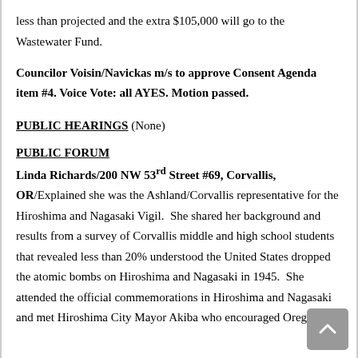less than projected and the extra $105,000 will go to the Wastewater Fund.
Councilor Voisin/Navickas m/s to approve Consent Agenda item #4. Voice Vote: all AYES. Motion passed.
PUBLIC HEARINGS (None)
PUBLIC FORUM
Linda Richards/200 NW 53rd Street #69, Corvallis, OR/Explained she was the Ashland/Corvallis representative for the Hiroshima and Nagasaki Vigil.  She shared her background and results from a survey of Corvallis middle and high school students that revealed less than 20% understood the United States dropped the atomic bombs on Hiroshima and Nagasaki in 1945.  She attended the official commemorations in Hiroshima and Nagasaki and met Hiroshima City Mayor Akiba who encouraged Oregon